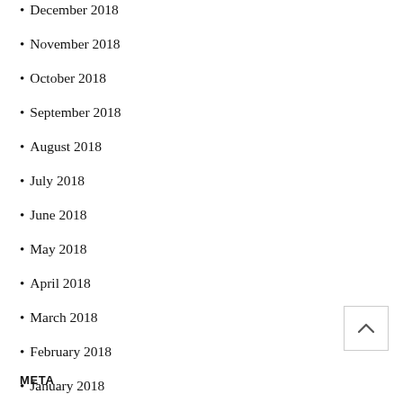December 2018
November 2018
October 2018
September 2018
August 2018
July 2018
June 2018
May 2018
April 2018
March 2018
February 2018
January 2018
December 2017
META